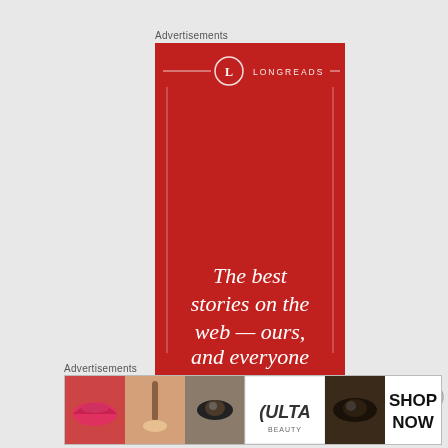Advertisements
[Figure (illustration): Longreads advertisement banner — red background with white Longreads logo and text reading 'The best stories on the web — ours, and everyone else's.']
Advertisements
[Figure (illustration): Ulta Beauty horizontal banner advertisement showing makeup photos (lips, brushes, eyes) alongside Ulta logo and 'SHOP NOW' call to action.]